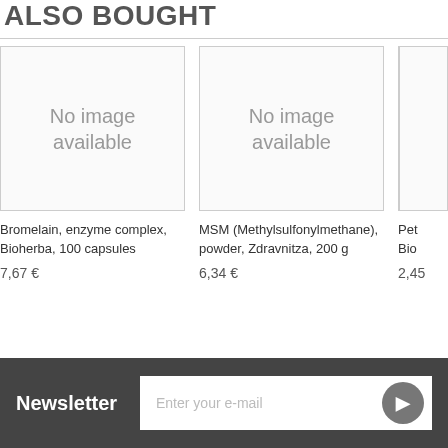ALSO BOUGHT
[Figure (photo): No image available placeholder box for Bromelain product]
Bromelain, enzyme complex, Bioherba, 100 capsules
7,67 €
[Figure (photo): No image available placeholder box for MSM product]
MSM (Methylsulfonylmethane), powder, Zdravnitza, 200 g
6,34 €
[Figure (photo): Partially visible no image placeholder for third product (Pet... Bio...)]
Pet Bio
2,45
Newsletter  Enter your e-mail